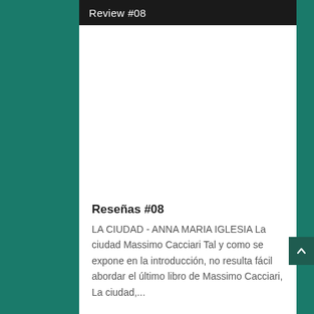Review  #08
Reseñas #08
LA CIUDAD - ANNA MARIA IGLESIA La ciudad Massimo Cacciari Tal y como se expone en la introducción, no resulta fácil abordar el último libro de Massimo Cacciari, La ciudad,...